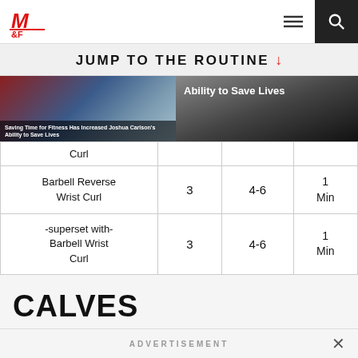M&F — Muscle & Fitness
JUMP TO THE ROUTINE ↓
[Figure (photo): Photo of people in uniform/rescue gear with caption 'Saving Time for Fitness Has Increased Joshua Carlson's Ability to Save Lives']
| Exercise | Sets | Reps | Rest |
| --- | --- | --- | --- |
| Curl |  |  |  |
| Barbell Reverse Wrist Curl | 3 | 4-6 | 1 Min |
| -superset with- Barbell Wrist Curl | 3 | 4-6 | 1 Min |
CALVES
ADVERTISEMENT